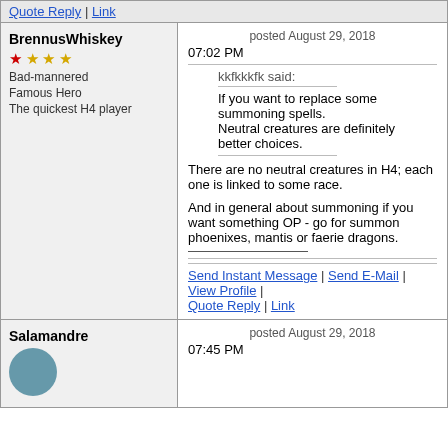Quote Reply | Link
BrennusWhiskey
Bad-mannered
Famous Hero
The quickest H4 player
posted August 29, 2018 07:02 PM
kkfkkkfk said:
If you want to replace some summoning spells.
Neutral creatures are definitely better choices.
There are no neutral creatures in H4; each one is linked to some race.
And in general about summoning if you want something OP - go for summon phoenixes, mantis or faerie dragons.
Send Instant Message | Send E-Mail | View Profile | Quote Reply | Link
Salamandre
posted August 29, 2018 07:45 PM